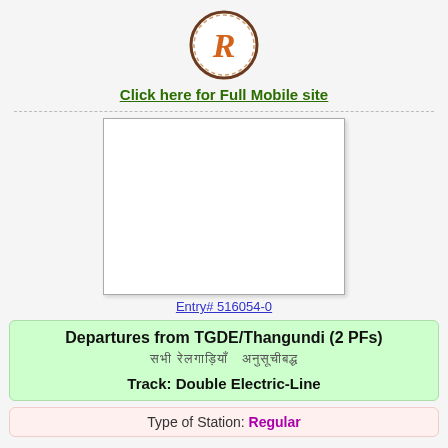[Figure (logo): Circular logo with stylized R letter in orange on white background with brown border]
Click here for Full Mobile site
[Figure (other): Advertisement placeholder box (white rectangle)]
Entry# 516054-0
Departures from TGDE/Thangundi (2 PFs)
Track: Double Electric-Line
Type of Station: Regular